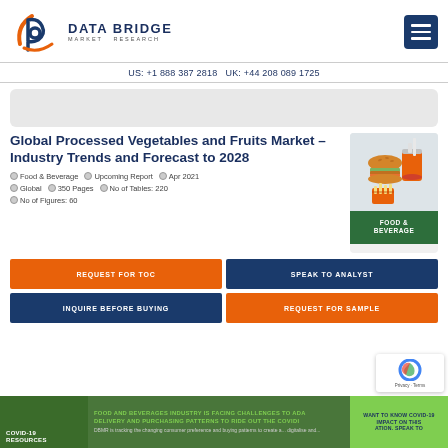Data Bridge Market Research | US: +1 888 387 2818 UK: +44 208 089 1725
[Figure (logo): Data Bridge Market Research logo with orange/navy stylized 'b' icon and company name]
US: +1 888 387 2818 UK: +44 208 089 1725
[Figure (other): Gray advertisement/banner placeholder]
Global Processed Vegetables and Fruits Market – Industry Trends and Forecast to 2028
Food & Beverage   Upcoming Report   Apr 2021   Global   350 Pages   No of Tables: 220   No of Figures: 60
[Figure (illustration): Food & Beverage category card showing illustrated burger, fries and drink with green banner reading FOOD & BEVERAGE]
REQUEST FOR TOC
SPEAK TO ANALYST
INQUIRE BEFORE BUYING
REQUEST FOR SAMPLE
FOOD AND BEVERAGES INDUSTRY IS FACING CHALLENGES TO ADAPT DELIVERY AND PURCHASING PATTERNS TO RIDE OUT THE COVID... DBMR is tracking the changing consumer preference and buying patterns to create a... digitalise and...
COVID-19 RESOURCES
WANT TO KNOW COVID-19 IMPACT ON THIS...ation. Speak to